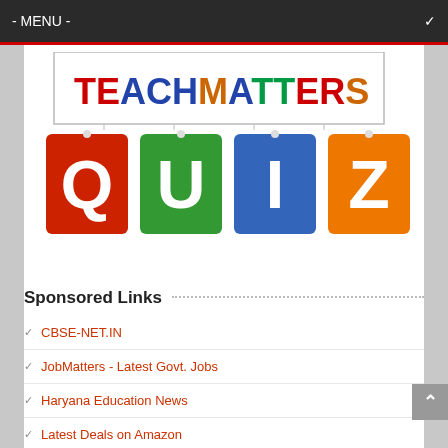- MENU -
[Figure (logo): TeachMatters Quiz logo: colorful text 'TEACHMATTERS' in a bordered rectangle above four colored hanging tag tiles spelling 'QUIZ' in red, green, blue, and orange]
Sponsored Links
CBSE-NET.IN
JobMatters - Latest Govt. Jobs
Haryana Education News
Latest Deals on Amazon